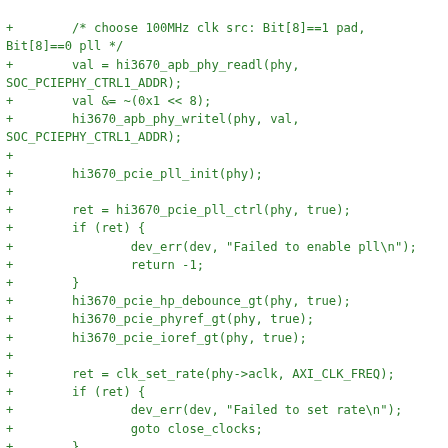[Figure (screenshot): Code diff snippet in monospace green text on white background showing C source code for hi3670 PCIe PHY initialization, including clock source selection, PLL init, error handling, clock rate setting, and close_clocks label.]